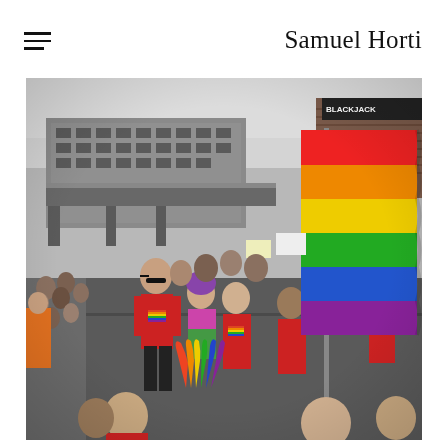Samuel Horti
[Figure (photo): Outdoor street photography of a Pride parade. A large rainbow flag (red, orange, yellow, green, blue, purple stripes) is held aloft on the right side. People in red t-shirts with rainbow logo march down a city street. A large brutalist concrete building with a pedestrian bridge spans the background. Signs and crowd line the left side. Sky is overcast white. Storefront signs visible upper right including 'Mac Mc'.]